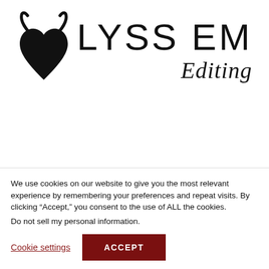[Figure (logo): Lyss Em Editing logo with a black heart with devil horns icon on the left, and the text 'LYSS EM' in large letters with 'Editing' in italic script below on the right]
About
Blog
Portfolio
We use cookies on our website to give you the most relevant experience by remembering your preferences and repeat visits. By clicking “Accept,” you consent to the use of ALL the cookies.
Do not sell my personal information.
Cookie settings   ACCEPT